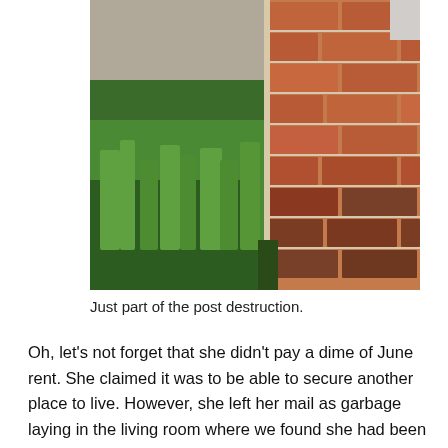[Figure (photo): A close-up photograph of a red brick wall corner with overgrown green grass at the base. The brickwork shows mortar joints and the corner edge is prominent.]
Just part of the post destruction.
Oh, let’s not forget that she didn’t pay a dime of June rent. She claimed it was to be able to secure another place to live. However, she left her mail as garbage laying in the living room where we found she had been rejected due to her record. Sometimes I wish I could say, “we were giving you a